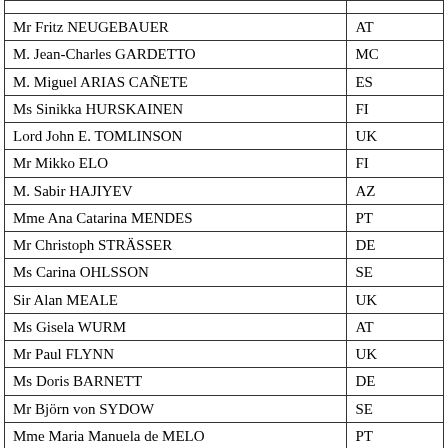| Name | Code |
| --- | --- |
| Mr Fritz NEUGEBAUER | AT |
| M. Jean-Charles GARDETTO | MC |
| M. Miguel ARIAS CAÑETE | ES |
| Ms Sinikka HURSKAINEN | FI |
| Lord John E. TOMLINSON | UK |
| Mr Mikko ELO | FI |
| M. Sabir HAJIYEV | AZ |
| Mme Ana Catarina MENDES | PT |
| Mr Christoph STRÄSSER | DE |
| Ms Carina OHLSSON | SE |
| Sir Alan MEALE | UK |
| Ms Gisela WURM | AT |
| Mr Paul FLYNN | UK |
| Ms Doris BARNETT | DE |
| Mr Björn von SYDOW | SE |
| Mme Maria Manuela de MELO | PT |